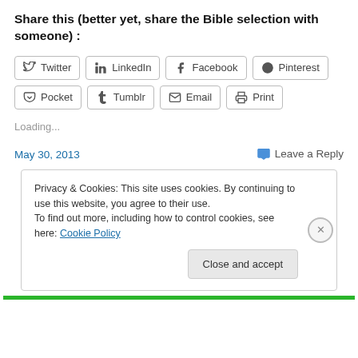Share this (better yet, share the Bible selection with someone) :
[Figure (screenshot): Row of social share buttons: Twitter, LinkedIn, Facebook, Pinterest, Pocket, Tumblr, Email, Print]
Loading...
May 30, 2013
Leave a Reply
Privacy & Cookies: This site uses cookies. By continuing to use this website, you agree to their use.
To find out more, including how to control cookies, see here: Cookie Policy
Close and accept